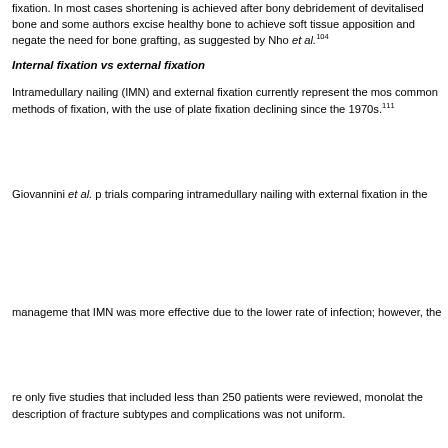fixation. In most cases shortening is achieved after bony debridement of devitalised bone and some authors excise healthy bone to achieve soft tissue apposition and negate the need for bone grafting, as suggested by Nho et al.104
Internal fixation vs external fixation
Intramedullary nailing (IMN) and external fixation currently represent the most common methods of fixation, with the use of plate fixation declining since the 1970s.111 Giovannini et al. performed a systematic review of trials comparing intramedullary nailing with external fixation in the management of open tibial fractures and found that IMN was more effective due to the lower rate of infection; however, the review had several limitations: only five studies that included less than 250 patients were reviewed, monolaternal fixators were used and the description of fracture subtypes and complications was not uniform.
Bhandari et al. conducted a systemic review and meta-analysis on the treatment of open tibial fractures in terms of skeletal fixation: plate fixation, external fixators, unreamed tibial nails and reamed tibial nails. Their analysis provided 'compelling evidence' that unreamed nails reduced the incidence of superficial infection and malunion when compared with external fixators. However, no mention was made of which external fixation system was used, limiting the applicability of this evidence. It is well reported in the literature that unreamed nails have a significantly higher rate of delayed union in open tibia fractures.92
Foote et al. conducted a network meta-analysis using evidence from randomised controlled trials of open fractures of the tibial diaphysis treated with various stabilisation devices.7 The outcomes included were deep infection and superficial infection. They found that unreamed nail fixation was superior to reamed nail fixation and with external fixation, and this was independent of the Gustilo classification of open fractures. There was no regard to secondary endpoints. They noted that limitations of the 14 studies included the methodological conduct of the studies.
Inan et al. conducted a prospective study comparing unreamed tibial nailing (UTN) with Ilizarov fixation in grade IIIA tibial fractures.92 Their results showed that the Ilizarov technique had higher rates of pin tract infection, contracture and shortening related to delayed union. The UTN technique h...